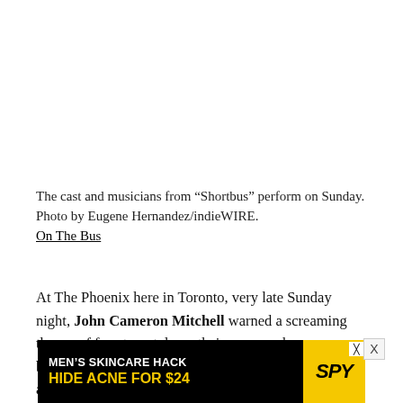The cast and musicians from “Shortbus” perform on Sunday. Photo by Eugene Hernandez/indieWIRE.
On The Bus
At The Phoenix here in Toronto, very late Sunday night, John Cameron Mitchell warned a screaming throng of fans to put down their camera phones because he’d be stage diving into the audience during an upcoming song. He lived up to that promise, lunging off the stage and into the mob. As they passed him along with their raised hands he layed flat…the moment capping a raucous and lively, nearly
[Figure (other): Advertisement banner: MEN'S SKINCARE HACK HIDE ACNE FOR $24 with SPY logo]